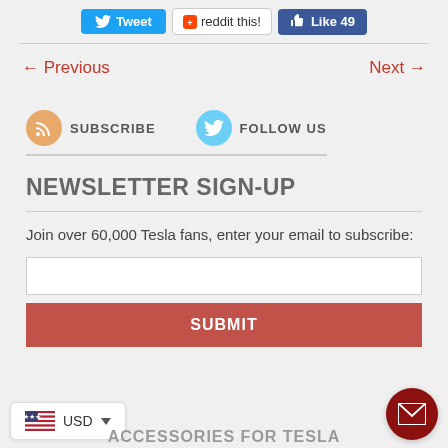[Figure (infographic): Social share buttons row: Tweet (blue), reddit this! (white/border), Like 49 (Facebook blue)]
← Previous
Next →
[Figure (infographic): Subscribe icon (orange circle with RSS) and SUBSCRIBE label, Follow Us icon (light blue circle with Twitter bird) and FOLLOW US label]
NEWSLETTER SIGN-UP
Join over 60,000 Tesla fans, enter your email to subscribe:
[Figure (infographic): Email input text field (empty) and SUBMIT button (dark red/terracotta)]
[Figure (infographic): Currency selector widget showing US flag and USD with dropdown arrow]
[Figure (infographic): Red circular mail/envelope button in bottom right corner]
ACCESSORIES FOR TESLA